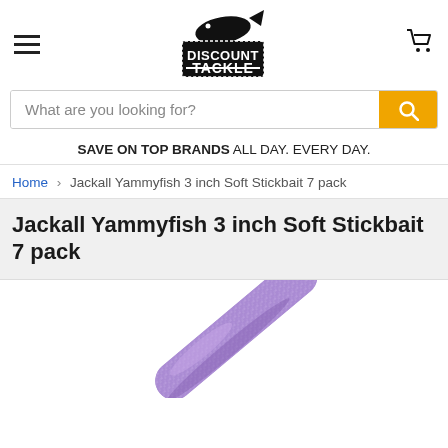Discount Tackle (logo, hamburger menu, cart icon)
What are you looking for?
SAVE ON TOP BRANDS ALL DAY. EVERY DAY.
Home > Jackall Yammyfish 3 inch Soft Stickbait 7 pack
Jackall Yammyfish 3 inch Soft Stickbait 7 pack
[Figure (photo): Close-up photo of a purple glitter soft stickbait fishing lure (Jackall Yammyfish 3 inch), shown diagonally against a white background.]